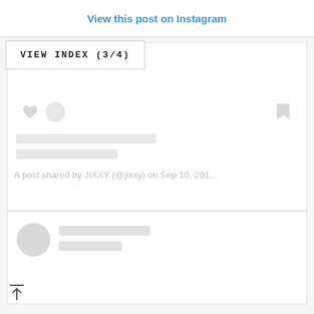View this post on Instagram
VIEW INDEX (3/4)
[Figure (screenshot): Instagram embed card placeholder with heart icon, face icon, bookmark icon, two grey placeholder bars, and shared-by text reading: A post shared by JIXXY (@jixxy) on Sep 10, 201...]
A post shared by JIXXY (@jixxy) on Sep 10, 201...
[Figure (screenshot): Loading Instagram embed card with circular avatar placeholder and two grey placeholder bars for username and handle.]